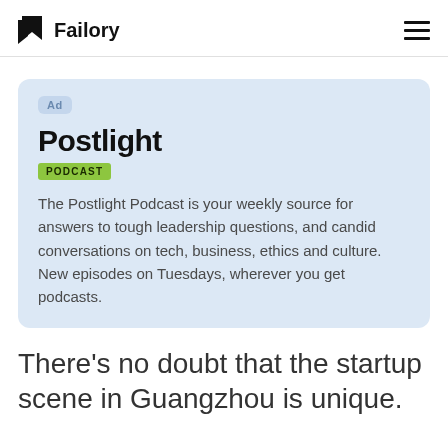Failory
[Figure (other): Ad card for Postlight Podcast with logo, PODCAST badge, and description text]
There's no doubt that the startup scene in Guangzhou is unique.